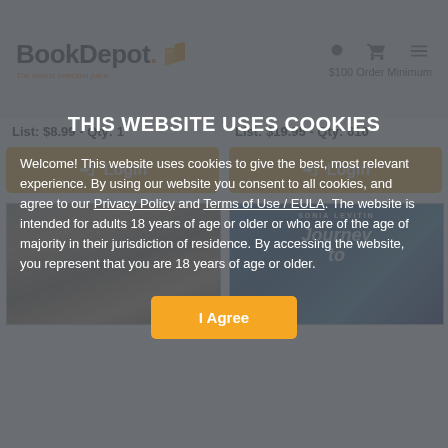BookDepot. The lowest selection price.
List: $8.99 - Qty: 1
Login
List: $19.95 - Qty: 610
Login
[Figure (screenshot): Two partially visible book cover thumbnails]
THIS WEBSITE USES COOKIES
Welcome! This website uses cookies to give the best, most relevant experience. By using our website you consent to all cookies, and agree to our Privacy Policy and Terms of Use / EULA. The website is intended for adults 18 years of age or older or who are of the age of majority in their jurisdiction of residence. By accessing the website, you represent that you are 18 years of age or older.
I Agree